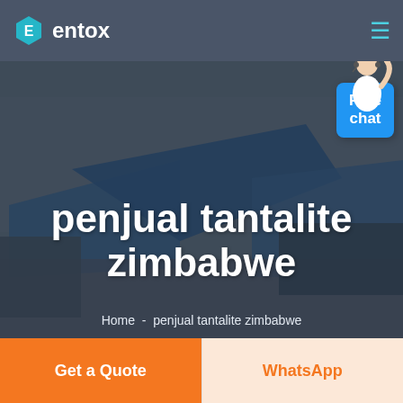entox
[Figure (photo): Aerial/elevated view of an industrial facility with large blue-roofed warehouse buildings, taken from a darkened/overlaid perspective suggesting a mining or manufacturing complex.]
penjual tantalite zimbabwe
Home  -  penjual tantalite zimbabwe
Free chat
Get a Quote
WhatsApp